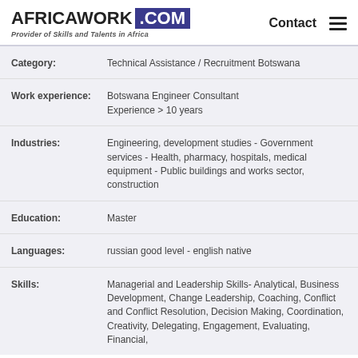AFRICAWORK .COM — Provider of Skills and Talents in Africa
| Field | Value |
| --- | --- |
| Category: | Technical Assistance / Recruitment Botswana |
| Work experience: | Botswana Engineer Consultant Experience > 10 years |
| Industries: | Engineering, development studies - Government services - Health, pharmacy, hospitals, medical equipment - Public buildings and works sector, construction |
| Education: | Master |
| Languages: | russian good level - english native |
| Skills: | Managerial and Leadership Skills- Analytical, Business Development, Change Leadership, Coaching, Conflict and Conflict Resolution, Decision Making, Coordination, Creativity, Delegating, Engagement, Evaluating, Financial, |